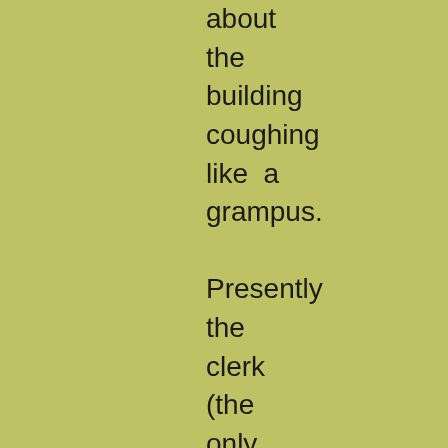about the building coughing like a grampus. Presently the clerk (the only cheerful-looking object there, and he was